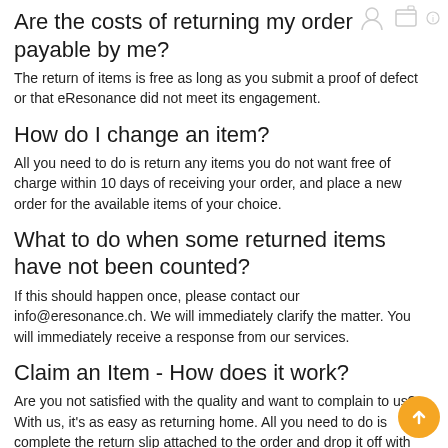Are the costs of returning my order payable by me?
The return of items is free as long as you submit a proof of defect or that eResonance did not meet its engagement.
How do I change an item?
All you need to do is return any items you do not want free of charge within 10 days of receiving your order, and place a new order for the available items of your choice.
What to do when some returned items have not been counted?
If this should happen once, please contact our info@eresonance.ch. We will immediately clarify the matter. You will immediately receive a response from our services.
Claim an Item - How does it work?
Are you not satisfied with the quality and want to complain to us? With us, it's as easy as returning home. All you need to do is complete the return slip attached to the order and drop it off with the items you want to return.